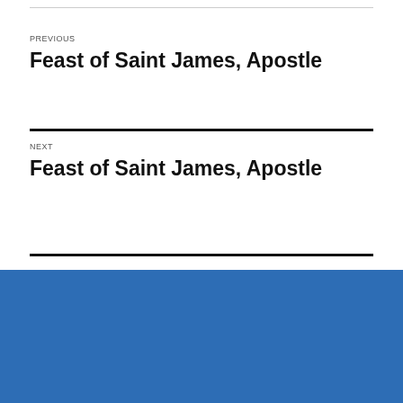PREVIOUS
Feast of Saint James, Apostle
NEXT
Feast of Saint James, Apostle
10601 Dexter-Pinckney Rd, Pinckney, MI